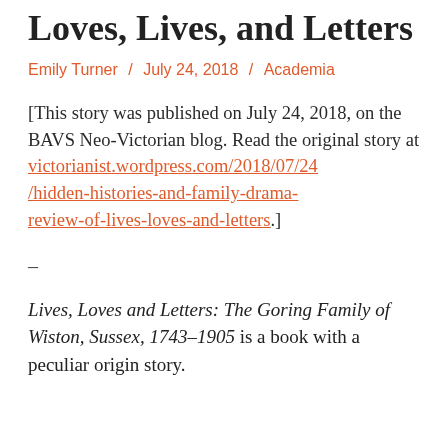Loves, Lives, and Letters
Emily Turner / July 24, 2018 / Academia
[This story was published on July 24, 2018, on the BAVS Neo-Victorian blog. Read the original story at victorianist.wordpress.com/2018/07/24/hidden-histories-and-family-drama-review-of-lives-loves-and-letters.]
–
Lives, Loves and Letters: The Goring Family of Wiston, Sussex, 1743–1905 is a book with a peculiar origin story.